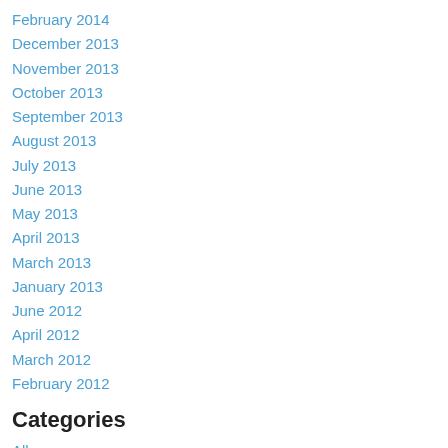February 2014
December 2013
November 2013
October 2013
September 2013
August 2013
July 2013
June 2013
May 2013
April 2013
March 2013
January 2013
June 2012
April 2012
March 2012
February 2012
Categories
All
10 Minute Sketches
10 Minutes Sketches